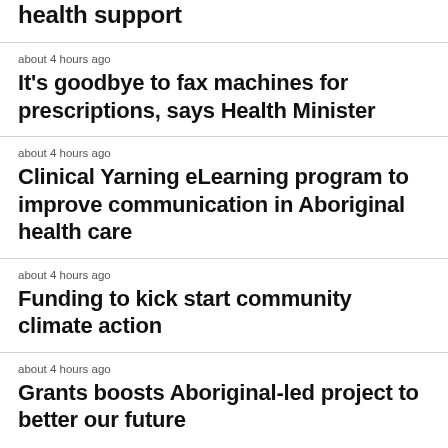health support
about 4 hours ago
It's goodbye to fax machines for prescriptions, says Health Minister
about 4 hours ago
Clinical Yarning eLearning program to improve communication in Aboriginal health care
about 4 hours ago
Funding to kick start community climate action
about 4 hours ago
Grants boosts Aboriginal-led project to better our future